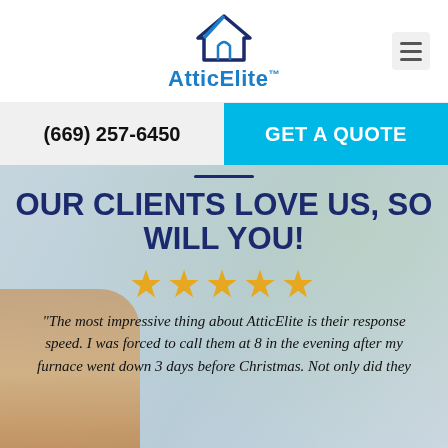[Figure (logo): AtticElite logo with house icon in navy/blue outline and blue text reading AtticElite with trademark symbol]
(669) 257-6450
GET A QUOTE
OUR CLIENTS LOVE US, SO WILL YOU!
[Figure (other): Five gold star rating icons]
"The most impressive thing about AtticElite is their response speed. I was forced to call them at 8 in the evening after my furnace went down 3 days before Christmas. Not only did they